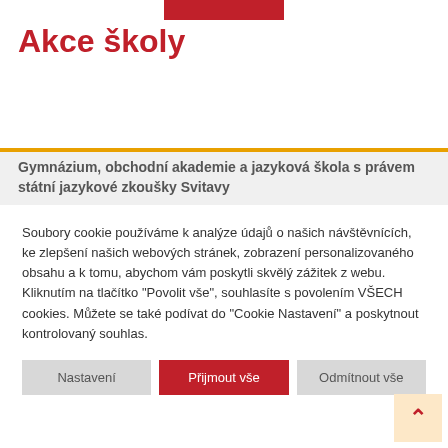Akce školy
Gymnázium, obchodní akademie a jazyková škola s právem státní jazykové zkoušky Svitavy
Soubory cookie používáme k analýze údajů o našich návštěvnících, ke zlepšení našich webových stránek, zobrazení personalizovaného obsahu a k tomu, abychom vám poskytli skvělý zážitek z webu. Kliknutím na tlačítko "Povolit vše", souhlasíte s povolením VŠECH cookies. Můžete se také podívat do "Cookie Nastavení" a poskytnout kontrolovaný souhlas.
Nastavení
Přijmout vše
Odmítnout vše